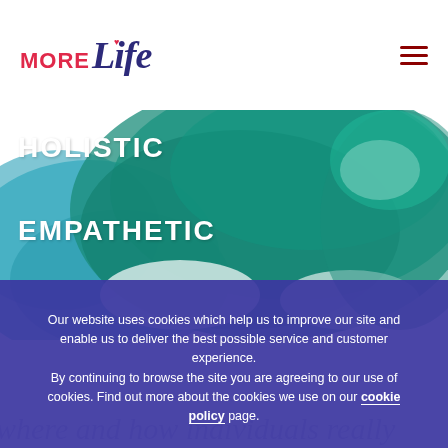[Figure (logo): MoreLife logo — 'MORE' in red uppercase sans-serif, 'life' in dark blue italic serif with a red heart dot above the i]
[Figure (illustration): Watercolor hero image with teal and green paint washes on a white background, with bold white uppercase text: HOLISTIC and EMPATHETIC]
Our website uses cookies which help us to improve our site and enable us to deliver the best possible service and customer experience.
By continuing to browse the site you are agreeing to our use of cookies. Find out more about the cookies we use on our cookie policy page.
Maximising delivery when, where and how individuals really